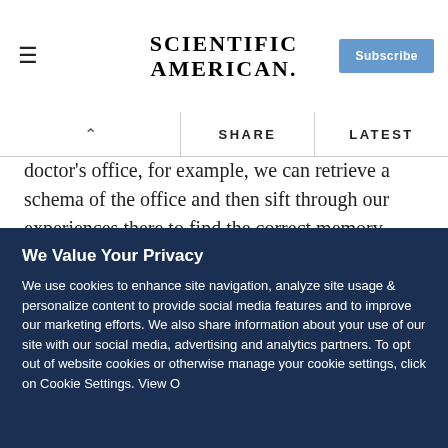SCIENTIFIC AMERICAN.
doctor's office, for example, we can retrieve a schema of the office and then sift through our experiences there to find the correct memory.
[Figure (screenshot): Embedded journal advertisement showing 'npj biofilms and microbiomes' logo above a microscopy image of biofilm or microbiome sample with colorful glittery texture.]
We Value Your Privacy
We use cookies to enhance site navigation, analyze site usage & personalize content to provide social media features and to improve our marketing efforts. We also share information about your use of our site with our social media, advertising and analytics partners. To opt out of website cookies or otherwise manage your cookie settings, click on Cookie Settings. View O...